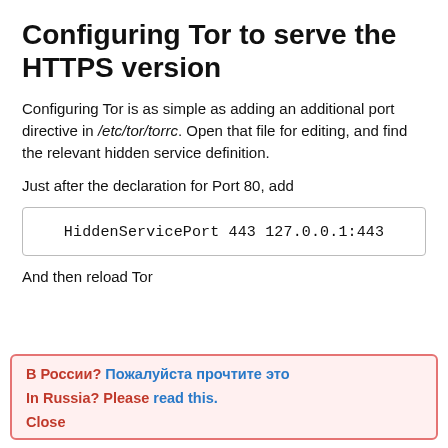Configuring Tor to serve the HTTPS version
Configuring Tor is as simple as adding an additional port directive in /etc/tor/torrc. Open that file for editing, and find the relevant hidden service definition.
Just after the declaration for Port 80, add
And then reload Tor
В России? Пожалуйста прочтите это
In Russia? Please read this.
Close